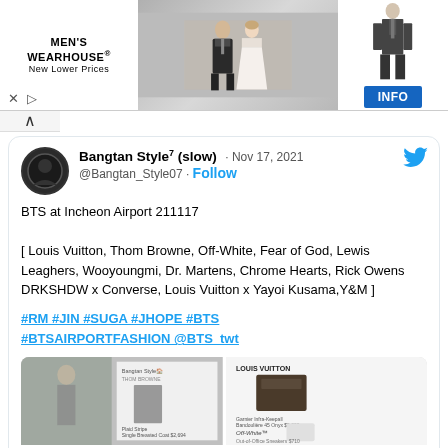[Figure (screenshot): Men's Wearhouse advertisement banner with wedding couple photo and man in suit, with INFO button]
[Figure (screenshot): Twitter/X tweet from Bangtan Style7 (slow) @Bangtan_Style07, Nov 17 2021, about BTS at Incheon Airport 211117, listing fashion brands and hashtags, with fashion image grid]